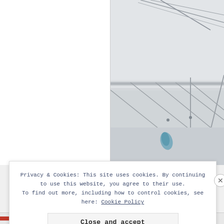[Figure (photo): Screenshot of a webpage showing a photo of metal wire shelving/rack structure with cables against a light grey background. The left side of the page is blank/white. The right side shows a close-up photo of steel wire shelving with crossing metal rods and a small blue item hanging from one of the wires.]
Privacy & Cookies: This site uses cookies. By continuing to use this website, you agree to their use. To find out more, including how to control cookies, see here: Cookie Policy
Close and accept